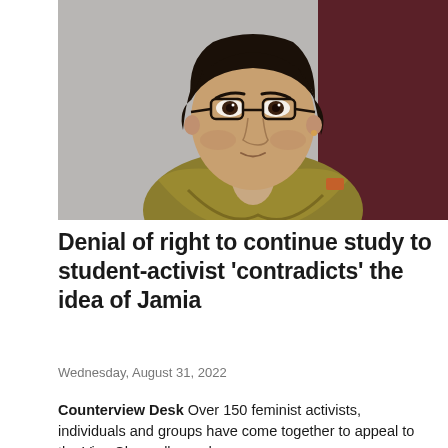[Figure (photo): Portrait photo of a young woman wearing glasses and an olive/mustard colored scarf, against a grey and dark red background.]
Denial of right to continue study to student-activist 'contradicts' the idea of Jamia
Wednesday, August 31, 2022
Counterview Desk  Over 150 feminist activists, individuals and groups have come together to appeal to the Vice Chancellor and